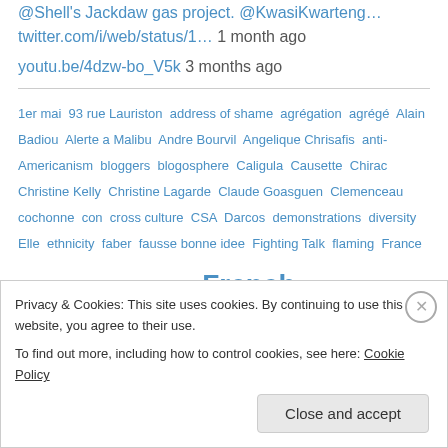@Shell's Jackdaw gas project. @KwasiKwarteng…
twitter.com/i/web/status/1… 1 month ago
youtu.be/4dzw-bo_V5k 3 months ago
1er mai 93 rue Lauriston address of shame agrégation agrégé Alain Badiou Alerte a Malibu Andre Bourvil Angelique Chrisafis anti-Americanism bloggers blogosphere Caligula Causette Chirac Christine Kelly Christine Lagarde Claude Goasguen Clemenceau cochonne con cross culture CSA Darcos demonstrations diversity Elle ethnicity faber fausse bonne idee Fighting Talk flaming France French cuisine French Muslim French patriarchy french vocab FSU Gerard Charasse Jacky
Privacy & Cookies: This site uses cookies. By continuing to use this website, you agree to their use. To find out more, including how to control cookies, see here: Cookie Policy
Close and accept